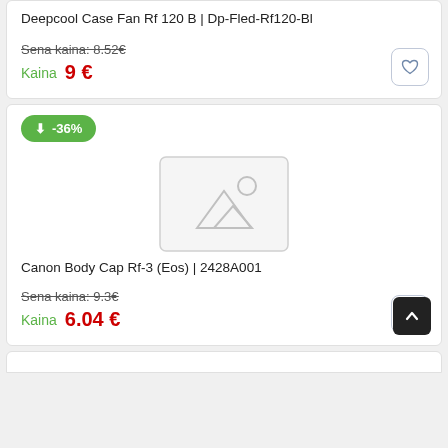Deepcool Case Fan Rf 120 B | Dp-Fled-Rf120-Bl
Sena kaina: 8.52€
Kaina  9 €
-36%
[Figure (illustration): Placeholder image with mountain and sun icon, light gray border]
Canon Body Cap Rf-3 (Eos) | 2428A001
Sena kaina: 9.3€
Kaina  6.04 €